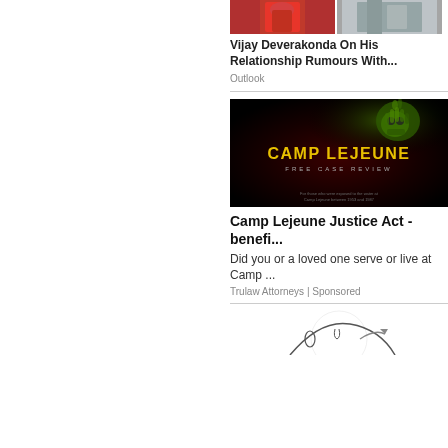[Figure (photo): Two small thumbnail images side by side - one showing a person in red dress, another in gray/white outfit]
Vijay Deverakonda On His Relationship Rumours With...
Outlook
[Figure (photo): Camp Lejeune Free Case Review advertisement banner with dark background, green skull imagery, and yellow text reading CAMP LEJEUNE FREE CASE REVIEW]
Camp Lejeune Justice Act - benefi...
Did you or a loved one serve or live at Camp ...
Trulaw Attorneys | Sponsored
[Figure (illustration): Partial illustration visible at the bottom of the page]